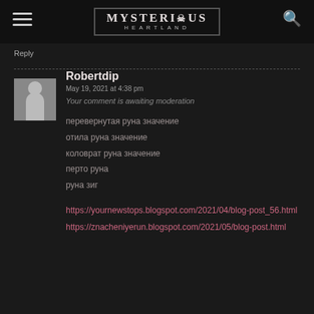MYSTERIOUS HEARTLAND
Reply
Robertdip
May 19, 2021 at 4:38 pm
Your comment is awaiting moderation
перевернутая руна значение
отила руна значение
коловрат руна значение
перто руна
руна зиг
https://yournewstops.blogspot.com/2021/04/blog-post_56.html
https://znacheniyerun.blogspot.com/2021/05/blog-post.html